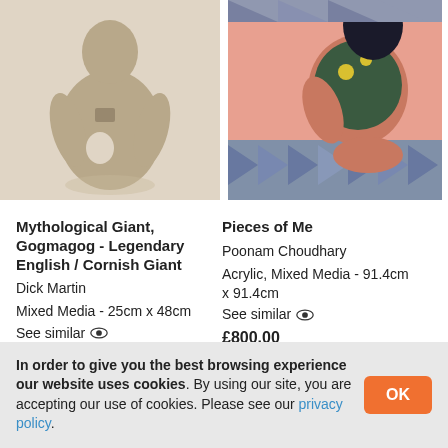[Figure (photo): Stone sculpture of a human figure (Mythological Giant Gogmagog), torso and arms visible, textured sandy surface, light grey/white background]
[Figure (photo): Colorful painting of a seated female figure with dark hair and floral top, pink background with geometric patterns, acrylic mixed media artwork]
Mythological Giant, Gogmagog - Legendary English / Cornish Giant
Dick Martin
Mixed Media - 25cm x 48cm
See similar 👁
£295.00
Pieces of Me
Poonam Choudhary
Acrylic, Mixed Media - 91.4cm x 91.4cm
See similar 👁
£800.00
In order to give you the best browsing experience our website uses cookies. By using our site, you are accepting our use of cookies. Please see our privacy policy.